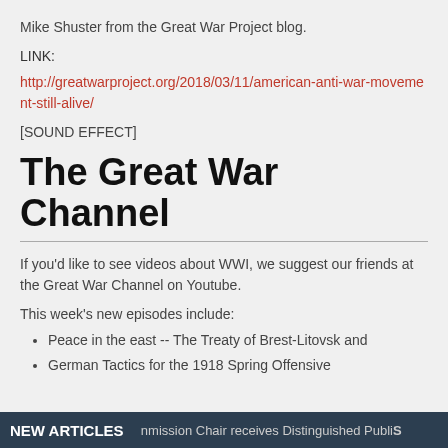Mike Shuster from the Great War Project blog.
LINK:
http://greatwarproject.org/2018/03/11/american-anti-war-movement-still-alive/
[SOUND EFFECT]
The Great War Channel
If you'd like to see videos about WWI, we suggest our friends at the Great War Channel on Youtube.
This week's new episodes include:
Peace in the east -- The Treaty of Brest-Litovsk and
German Tactics for the 1918 Spring Offensive
NEW ARTICLES   nmission Chair receives Distinguished Public S